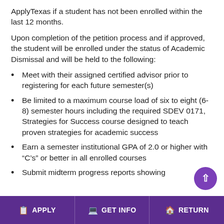ApplyTexas if a student has not been enrolled within the last 12 months.
Upon completion of the petition process and if approved, the student will be enrolled under the status of Academic Dismissal and will be held to the following:
Meet with their assigned certified advisor prior to registering for each future semester(s)
Be limited to a maximum course load of six to eight (6-8) semester hours including the required SDEV 0171, Strategies for Success course designed to teach proven strategies for academic success
Earn a semester institutional GPA of 2.0 or higher with “C’s” or better in all enrolled courses
Submit midterm progress reports showing
APPLY | GET INFO | RETURN